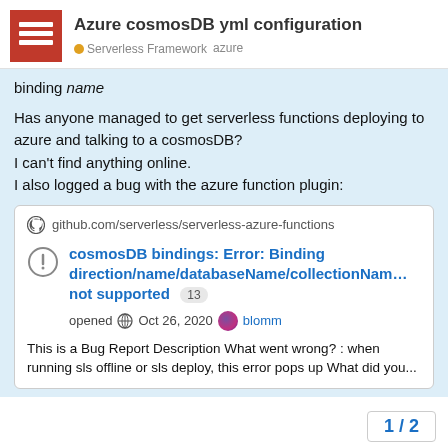Azure cosmosDB yml configuration
Serverless Framework  azure
binding name
Has anyone managed to get serverless functions deploying to azure and talking to a cosmosDB?
I can't find anything online.
I also logged a bug with the azure function plugin:
[Figure (screenshot): Embedded GitHub issue card showing: github.com/serverless/serverless-azure-functions link, issue title 'cosmosDB bindings: Error: Binding direction/name/databaseName/collectionName not supported' with badge 13, opened Oct 26, 2020 by blomm, bug description text.]
This is a Bug Report Description What went wrong? : when running sls offline or sls deploy, this error pops up What did you...
1 / 2